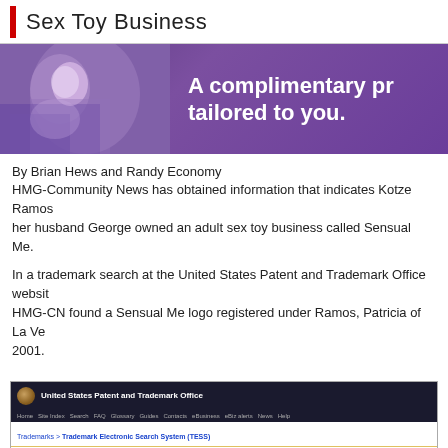Sex Toy Business
[Figure (photo): Purple banner advertisement with woman on phone, text reading 'A complimentary pr... tailored to you.']
By Brian Hews and Randy Economy
HMG-Community News has obtained information that indicates Kotze Ramos... her husband George owned an adult sex toy business called Sensual Me.
In a trademark search at the United States Patent and Trademark Office websit... HMG-CN found a Sensual Me logo registered under Ramos, Patricia of La Ve... 2001.
[Figure (screenshot): Screenshot of United States Patent and Trademark Office TESS website showing Record 2 out of 2 for trademark search, with buttons and navigation bar.]